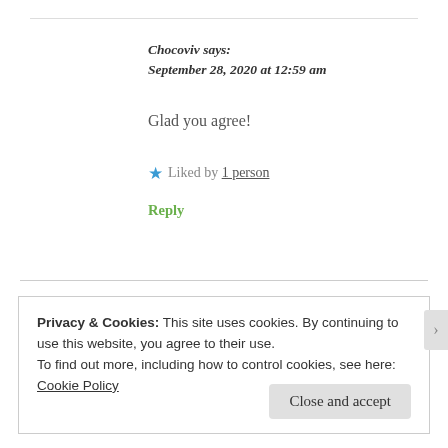Chocoviv says:
September 28, 2020 at 12:59 am
Glad you agree!
★ Liked by 1 person
Reply
Privacy & Cookies: This site uses cookies. By continuing to use this website, you agree to their use.
To find out more, including how to control cookies, see here: Cookie Policy
Close and accept